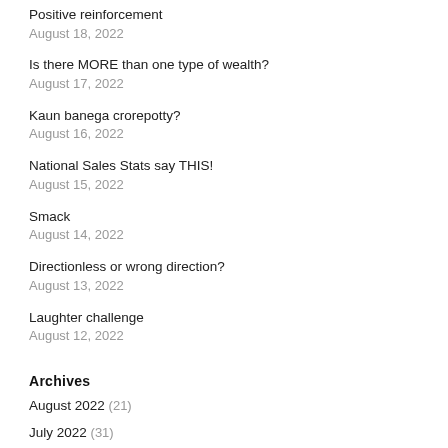Positive reinforcement
August 18, 2022
Is there MORE than one type of wealth?
August 17, 2022
Kaun banega crorepotty?
August 16, 2022
National Sales Stats say THIS!
August 15, 2022
Smack
August 14, 2022
Directionless or wrong direction?
August 13, 2022
Laughter challenge
August 12, 2022
Archives
August 2022 (21)
July 2022 (31)